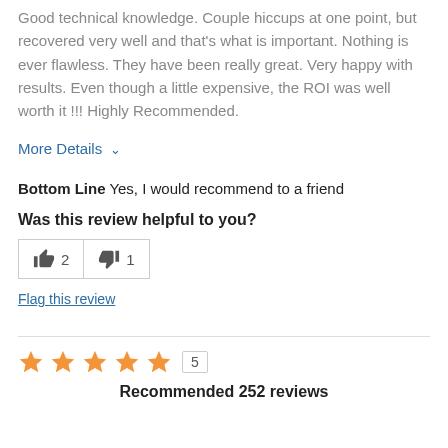Good technical knowledge. Couple hiccups at one point, but recovered very well and that's what is important. Nothing is ever flawless. They have been really great. Very happy with results. Even though a little expensive, the ROI was well worth it !!! Highly Recommended.
More Details ∨
Bottom Line Yes, I would recommend to a friend
Was this review helpful to you?
[Figure (other): Thumbs up button with count 2 and thumbs down button with count 1]
Flag this review
[Figure (other): Five orange star rating icons with count box showing 5]
Recommended 252 reviews